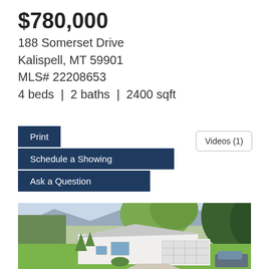$780,000
188 Somerset Drive
Kalispell, MT 59901
MLS# 22208653
4 beds  |  2 baths  |  2400 sqft
Print
Schedule a Showing
Ask a Question
Videos (1)
[Figure (photo): Aerial/elevated view of a white single-story house with attached garage, surrounded by mature trees including large weeping willows, with green lawn, a driveway, and neighboring properties visible in the background.]